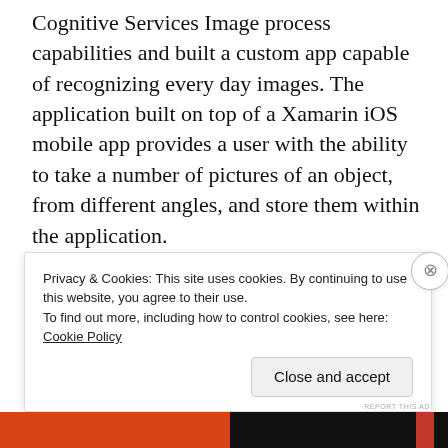Cognitive Services Image process capabilities and built a custom app capable of recognizing every day images. The application built on top of a Xamarin iOS mobile app provides a user with the ability to take a number of pictures of an object, from different angles, and store them within the application.
Build a better web and a better world.
REPORT THIS AD
Privacy & Cookies: This site uses cookies. By continuing to use this website, you agree to their use.
To find out more, including how to control cookies, see here: Cookie Policy
Close and accept
REPORT THIS AD